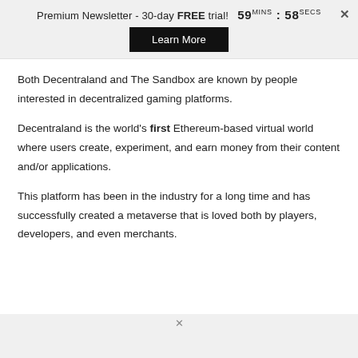Premium Newsletter - 30-day FREE trial! 59MINS : 58SECS
Learn More
Both Decentraland and The Sandbox are known by people interested in decentralized gaming platforms.
Decentraland is the world's first Ethereum-based virtual world where users create, experiment, and earn money from their content and/or applications.
This platform has been in the industry for a long time and has successfully created a metaverse that is loved both by players, developers, and even merchants.